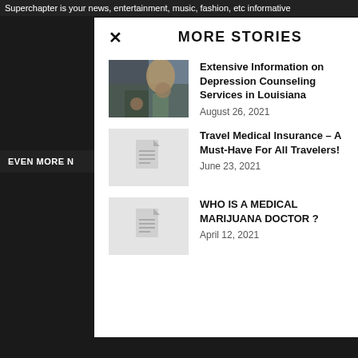Superchapter is your news, entertainment, music, fashion, etc informative
MORE STORIES
Extensive Information on Depression Counseling Services in Louisiana
August 26, 2021
Travel Medical Insurance – A Must-Have For All Travelers!
June 23, 2021
WHO IS A MEDICAL MARIJUANA DOCTOR ?
April 12, 2021